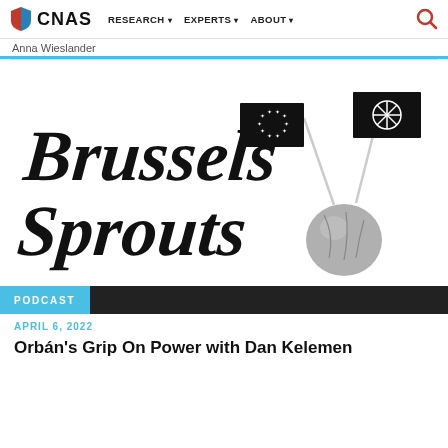CNAS | RESEARCH | EXPERTS | ABOUT
Anna Wieslander
[Figure (illustration): Brussels Sprouts podcast logo: cursive black text 'Brussels Sprouts' on left, with a Brussels sprout vegetable on right holding two small black flags — one EU flag with stars, one NATO compass-rose flag]
PODCAST
APRIL 6, 2022
Orbán's Grip On Power with Dan Kelemen